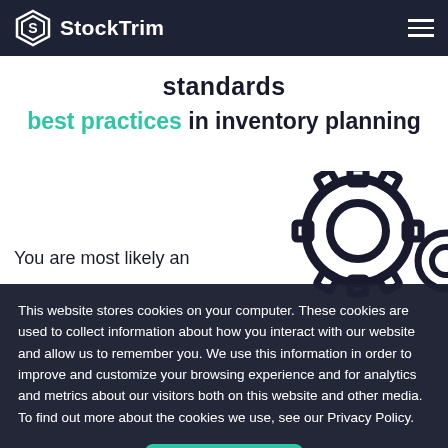StockTrim
standards
best practices in inventory planning
[Figure (illustration): Gear/cog icon illustration in dark outline style]
You are most likely an
This website stores cookies on your computer. These cookies are used to collect information about how you interact with our website and allow us to remember you. We use this information in order to improve and customize your browsing experience and for analytics and metrics about our visitors both on this website and other media. To find out more about the cookies we use, see our Privacy Policy.
Accept